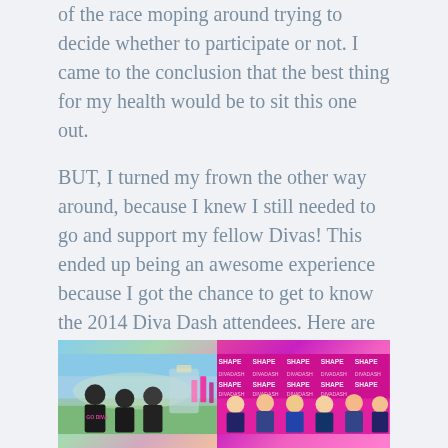of the race moping around trying to decide whether to participate or not. I came to the conclusion that the best thing for my health would be to sit this one out.
BUT, I turned my frown the other way around, because I knew I still needed to go and support my fellow Divas! This ended up being an awesome experience because I got the chance to get to know the 2014 Diva Dash attendees. Here are four teams from the race that I had the pleasure to interview:
TEAM: GO DIVA OR GO HOME
Jenny Harbaugh and The Girls
[Figure (photo): Two side-by-side photos: left shows women in black shirts at an outdoor race event with colorful decorations; right shows women smiling in front of SHAPE magazine branded pink banner/backdrop at the Diva Dash event.]